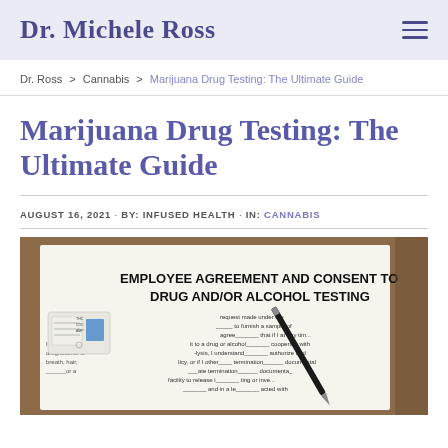Dr. Michele Ross
Dr. Ross > Cannabis > Marijuana Drug Testing: The Ultimate Guide
Marijuana Drug Testing: The Ultimate Guide
AUGUST 16, 2021 · BY: INFUSED HEALTH · IN: CANNABIS
[Figure (photo): Photo of an Employee Agreement and Consent to Drug and/or Alcohol Testing form with a drug test kit and pen on top]